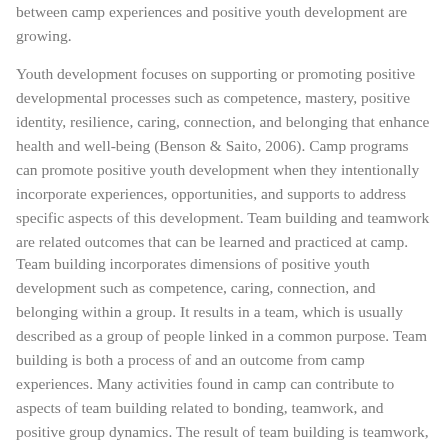between camp experiences and positive youth development are growing.
Youth development focuses on supporting or promoting positive developmental processes such as competence, mastery, positive identity, resilience, caring, connection, and belonging that enhance health and well-being (Benson & Saito, 2006). Camp programs can promote positive youth development when they intentionally incorporate experiences, opportunities, and supports to address specific aspects of this development. Team building and teamwork are related outcomes that can be learned and practiced at camp.
Team building incorporates dimensions of positive youth development such as competence, caring, connection, and belonging within a group. It results in a team, which is usually described as a group of people linked in a common purpose. Team building is both a process of and an outcome from camp experiences. Many activities found in camp can contribute to aspects of team building related to bonding, teamwork, and positive group dynamics. The result of team building is teamwork, which